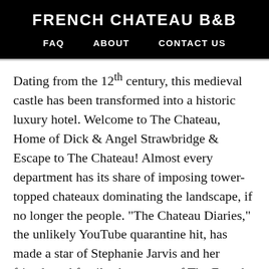FRENCH CHATEAU B&B
FAQ   ABOUT   CONTACT US
Dating from the 12th century, this medieval castle has been transformed into a historic luxury hotel. Welcome to The Chateau, Home of Dick & Angel Strawbridge & Escape to The Chateau! Almost every department has its share of imposing tower-topped chateaux dominating the landscape, if no longer the people. "The Chateau Diaries," the unlikely YouTube quarantine hit, has made a star of Stephanie Jarvis and her friends and family. As a guest of The French Manor, you will enjoy views of the beautiful crests and ridges of the